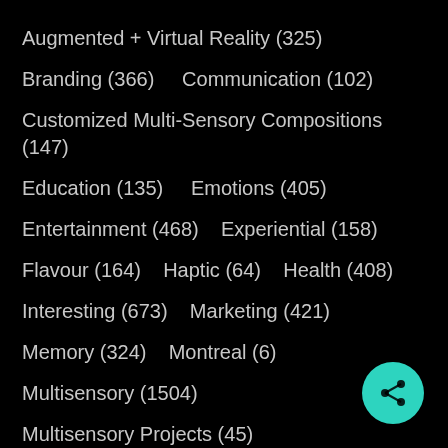Augmented + Virtual Reality (325)
Branding (366)    Communication (102)
Customized Multi-Sensory Compositions (147)
Education (135)    Emotions (405)
Entertainment (468)    Experiential (158)
Flavour (164)    Haptic (64)    Health (408)
Interesting (673)    Marketing (421)
Memory (324)    Montreal (6)
Multisensory (1504)
Multisensory Projects (45)
Multisensory Services (10)
Neuroscience (98)    Pheromones (107)